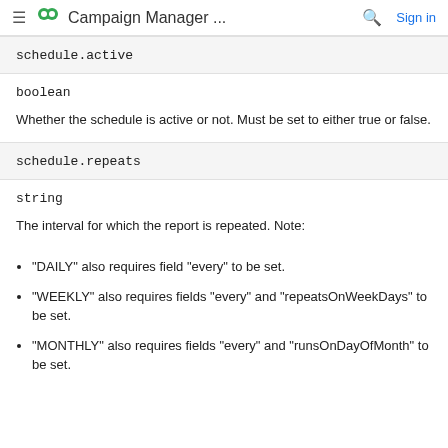≡  Campaign Manager ...  🔍  Sign in
schedule.active
boolean
Whether the schedule is active or not. Must be set to either true or false.
schedule.repeats
string
The interval for which the report is repeated. Note:
"DAILY" also requires field "every" to be set.
"WEEKLY" also requires fields "every" and "repeatsOnWeekDays" to be set.
"MONTHLY" also requires fields "every" and "runsOnDayOfMonth" to be set.